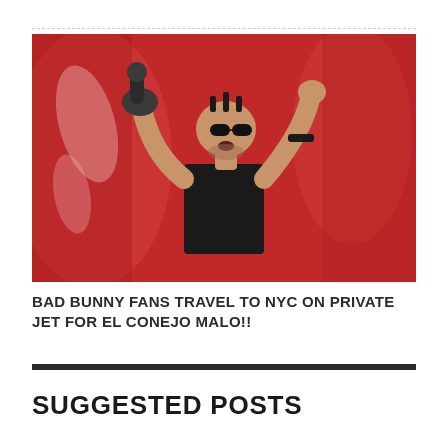[Figure (photo): A performer in a black t-shirt holding a microphone up to his mouth with one arm raised, wearing dark sunglasses and a crown-like accessory on his head, against a vivid red background with fabric-like lighting.]
BAD BUNNY FANS TRAVEL TO NYC ON PRIVATE JET FOR EL CONEJO MALO!!
SUGGESTED POSTS